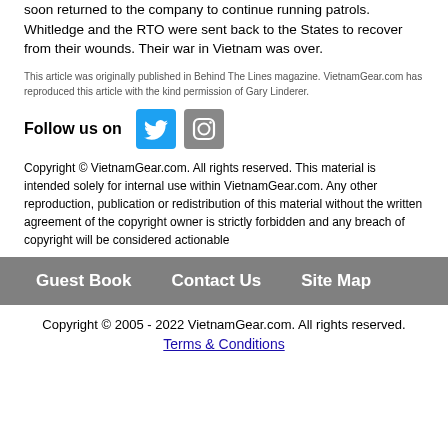soon returned to the company to continue running patrols. Whitledge and the RTO were sent back to the States to recover from their wounds. Their war in Vietnam was over.
This article was originally published in Behind The Lines magazine. VietnamGear.com has reproduced this article with the kind permission of Gary Linderer.
Follow us on
Copyright © VietnamGear.com. All rights reserved. This material is intended solely for internal use within VietnamGear.com. Any other reproduction, publication or redistribution of this material without the written agreement of the copyright owner is strictly forbidden and any breach of copyright will be considered actionable
Guest Book   Contact Us   Site Map
Copyright © 2005 - 2022 VietnamGear.com. All rights reserved.
Terms & Conditions